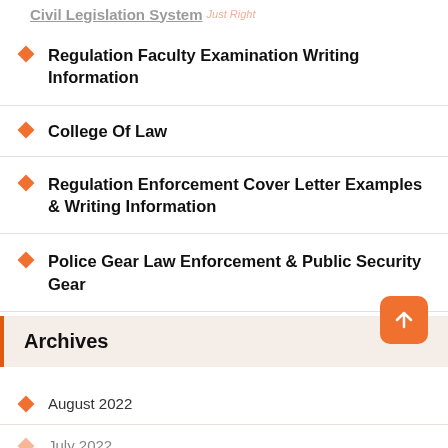Civil Legislation System
Regulation Faculty Examination Writing Information
College Of Law
Regulation Enforcement Cover Letter Examples & Writing Information
Police Gear Law Enforcement & Public Security Gear
Archives
August 2022
July 2022